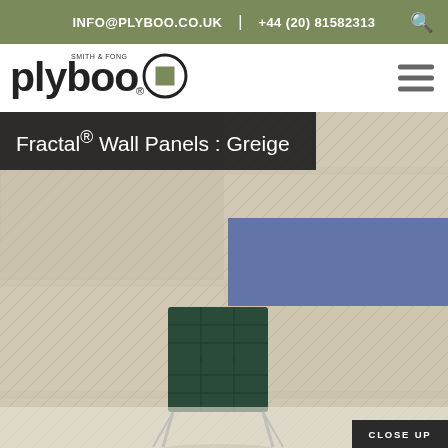INFO@PLYBOO.CO.UK | +44 (20) 81582313
[Figure (logo): Plyboo by Smith & Fong logo with circular emblem]
[Figure (photo): Fractal® Wall Panels in Greige finish — geometric patterned bamboo wall panels with a dark leather Barcelona chair in the foreground]
Fractal® Wall Panels : Greige
Fractal® Design Tool — CREATE YOUR OWN WALL DESIGN
CLOSE UP